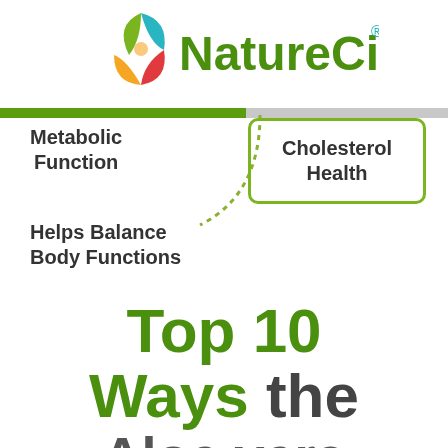[Figure (logo): NatureCity logo with colorful leaf/flower icon and green NatureCity text with registered trademark symbol]
Metabolic Function
Cholesterol Health
Helps Balance Body Functions
Top 10 Ways the Aloe vera in TrueAloe™ is Better!